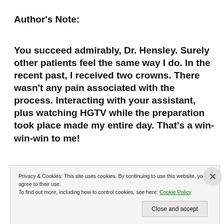Author's Note:
You succeed admirably, Dr. Hensley. Surely other patients feel the same way I do. In the recent past, I received two crowns. There wasn't any pain associated with the process. Interacting with your assistant, plus watching HGTV while the preparation took place made my entire day. That's a win-win-win to me!
Riverview applauds your efforts. What good
Privacy & Cookies: This site uses cookies. By continuing to use this website, you agree to their use.
To find out more, including how to control cookies, see here: Cookie Policy
Close and accept